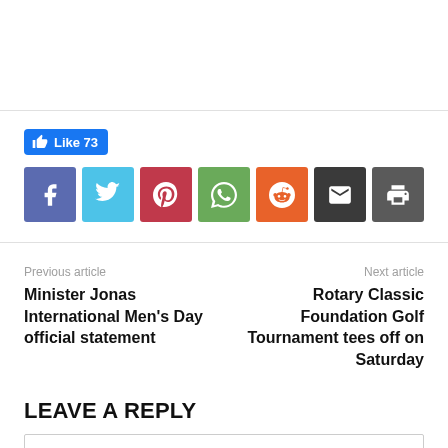[Figure (infographic): Social share bar with Facebook Like button showing count 73, and 7 share icon buttons: Facebook (purple-blue), Twitter (cyan), Pinterest (red), WhatsApp (green), Reddit (orange), Email (dark), Print (gray)]
Previous article
Minister Jonas International Men's Day official statement
Next article
Rotary Classic Foundation Golf Tournament tees off on Saturday
LEAVE A REPLY